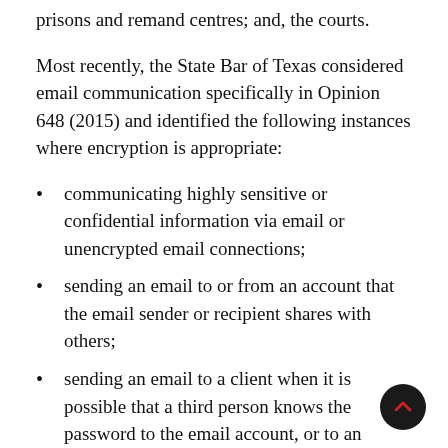prisons and remand centres; and, the courts.
Most recently, the State Bar of Texas considered email communication specifically in Opinion 648 (2015) and identified the following instances where encryption is appropriate:
communicating highly sensitive or confidential information via email or unencrypted email connections;
sending an email to or from an account that the email sender or recipient shares with others;
sending an email to a client when it is possible that a third person knows the password to the email account, or to an individual client at that client's work email account;
sending an email from a public computer or a borrowed computer or on an insecure network
sending an email if the lawyer knows that the